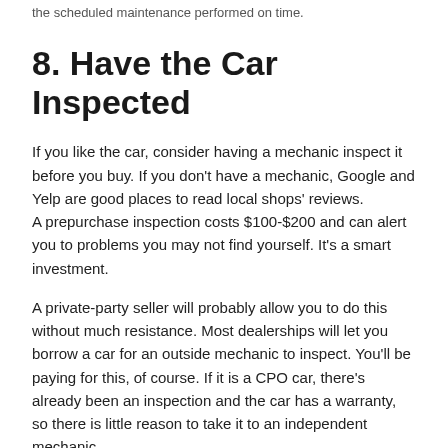the scheduled maintenance performed on time.
8. Have the Car Inspected
If you like the car, consider having a mechanic inspect it before you buy. If you don't have a mechanic, Google and Yelp are good places to read local shops' reviews. A prepurchase inspection costs $100-$200 and can alert you to problems you may not find yourself. It's a smart investment.
A private-party seller will probably allow you to do this without much resistance. Most dealerships will let you borrow a car for an outside mechanic to inspect. You'll be paying for this, of course. If it is a CPO car, there's already been an inspection and the car has a warranty, so there is little reason to take it to an independent mechanic.